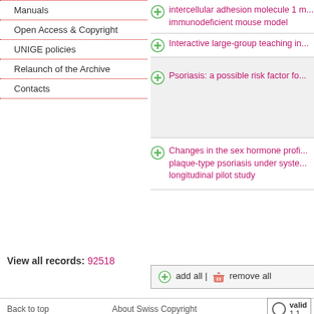Manuals
Open Access & Copyright
UNIGE policies
Relaunch of the Archive
Contacts
intercellular adhesion molecule 1 ... immunodeficient mouse model
Interactive large-group teaching in...
Psoriasis: a possible risk factor fo...
Changes in the sex hormone profi... plaque-type psoriasis under syste... longitudinal pilot study
add all | remove all
View all records: 92518
Back to top    About Swiss Copyright    valid 1.1